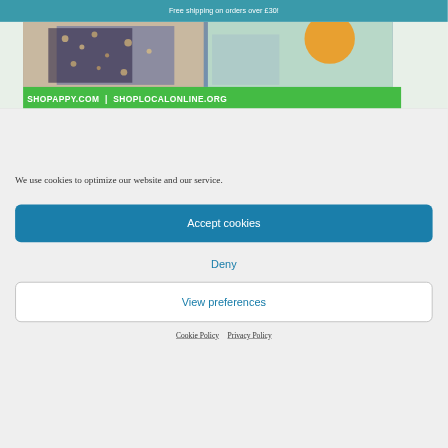Free shipping on orders over £30!
[Figure (screenshot): ShopAppy website screenshot showing product images and green banner with text 'SHOPAPPY.COM | SHOPLOCALONLINE.ORG']
We use cookies to optimize our website and our service.
Accept cookies
Deny
View preferences
Cookie Policy   Privacy Policy